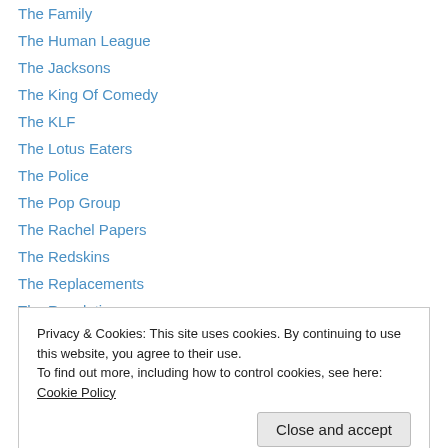The Family
The Human League
The Jacksons
The King Of Comedy
The KLF
The Lotus Eaters
The Police
The Pop Group
The Rachel Papers
The Redskins
The Replacements
The Revolution
The Robert Cray Band
Privacy & Cookies: This site uses cookies. By continuing to use this website, you agree to their use. To find out more, including how to control cookies, see here: Cookie Policy
Thelonious Monk